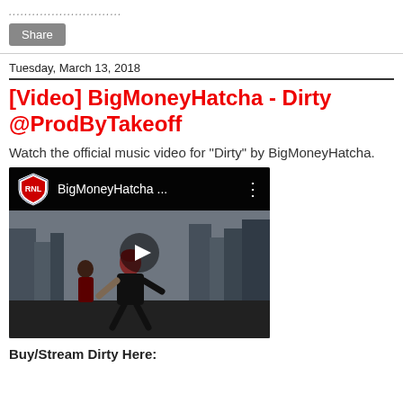Share
Tuesday, March 13, 2018
[Video] BigMoneyHatcha - Dirty @ProdByTakeoff
Watch the official music video for "Dirty" by BigMoneyHatcha.
[Figure (screenshot): YouTube video thumbnail showing BigMoneyHatcha music video with RNL logo, title 'BigMoneyHatcha ...' and a play button over a scene of a person dancing outdoors in a city setting.]
Buy/Stream Dirty Here: